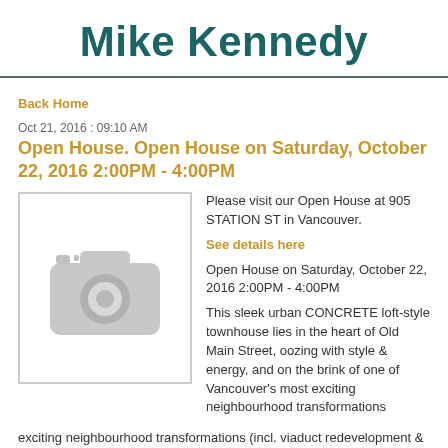Mike Kennedy
Back Home
Oct 21, 2016 : 09:10 AM
Open House. Open House on Saturday, October 22, 2016 2:00PM - 4:00PM
[Figure (photo): Placeholder camera icon image with grey background]
Please visit our Open House at 905 STATION ST in Vancouver.

See details here

Open House on Saturday, October 22, 2016 2:00PM - 4:00PM

This sleek urban CONCRETE loft-style townhouse lies in the heart of Old Main Street, oozing with style & energy, and on the brink of one of Vancouver's most exciting neighbourhood transformations (incl. viaduct redevelopment & new St. Paul's Hospital). Conveniently located just steps from the Seawall & Olympic Village (with a 97 Walk Score, 95 Bike Score & 100 Transit Score)! Modern design & functional space w/2 entrances...giving you the option of having the freedom of your own street-level entrance. Immaculately-kept with acid-etched epoxy-coated concrete flrs, exposed